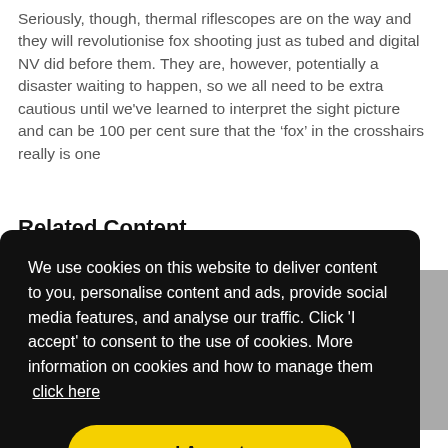Seriously, though, thermal riflescopes are on the way and they will revolutionise fox shooting just as tubed and digital NV did before them. They are, however, potentially a disaster waiting to happen, so we all need to be extra cautious until we've learned to interpret the sight picture and can be 100 per cent sure that the 'fox' in the crosshairs really is one
Related Content
[Figure (screenshot): Cookie consent banner overlay on a webpage. Black rounded rectangle containing cookie notice text and a yellow 'I Accept' button.]
thermal